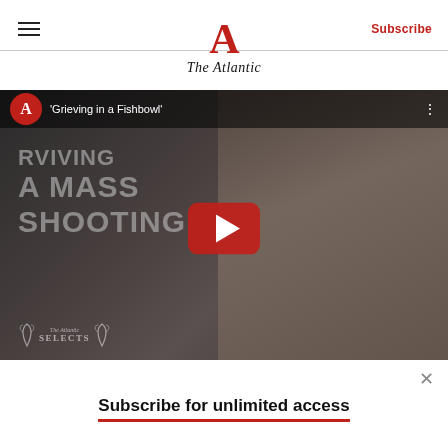The Atlantic — Subscribe
[Figure (screenshot): YouTube-style embedded video thumbnail for 'Grieving in a Fishbowl' with The Atlantic logo, play button, text overlay reading 'SURVIVING A MASS SHOOTING', and Atlantic Selects logo at bottom left]
Subscribe for unlimited access